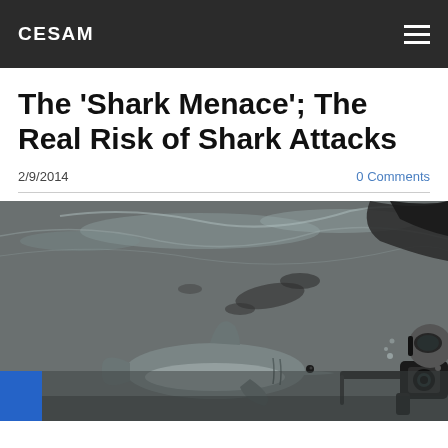CESAM
The 'Shark Menace'; The Real Risk of Shark Attacks
2/9/2014
0 Comments
[Figure (photo): Underwater black and white photograph showing a shark swimming near the water surface with a scuba diver holding a camera on the right side. Reflections and light patterns visible on the water surface above.]